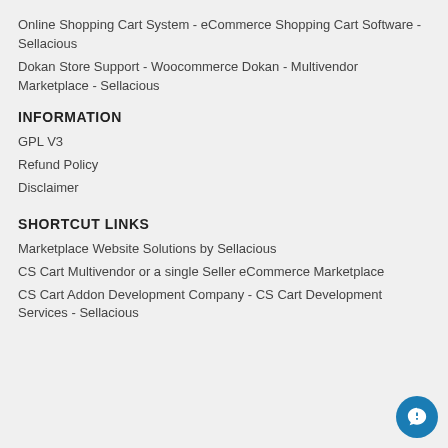Online Shopping Cart System - eCommerce Shopping Cart Software - Sellacious
Dokan Store Support - Woocommerce Dokan - Multivendor Marketplace - Sellacious
INFORMATION
GPL V3
Refund Policy
Disclaimer
SHORTCUT LINKS
Marketplace Website Solutions by Sellacious
CS Cart Multivendor or a single Seller eCommerce Marketplace
CS Cart Addon Development Company - CS Cart Development Services - Sellacious